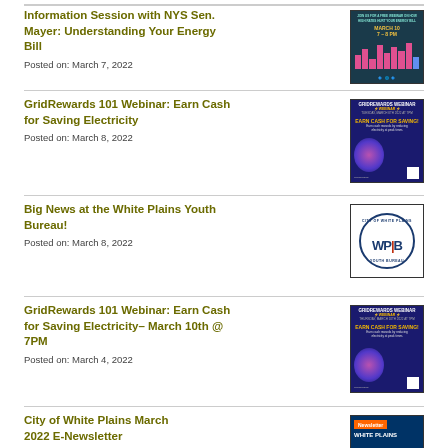Information Session with NYS Sen. Mayer: Understanding Your Energy Bill
Posted on: March 7, 2022
[Figure (illustration): Event poster for Information Session with NYS Sen. Mayer about energy bills, dark teal background with pink bar chart and event details]
GridRewards 101 Webinar: Earn Cash for Saving Electricity
Posted on: March 8, 2022
[Figure (illustration): GridRewards Webinar flyer with dark blue background, earn cash for saving electricity text, colorful figure illustration and QR code]
Big News at the White Plains Youth Bureau!
Posted on: March 8, 2022
[Figure (logo): City of White Plains Youth Bureau circular logo with WPYB text in dark blue and red]
GridRewards 101 Webinar: Earn Cash for Saving Electricity- March 10th @ 7PM
Posted on: March 4, 2022
[Figure (illustration): GridRewards Webinar flyer with dark blue background, earn cash for saving electricity text, colorful figure illustration and QR code]
City of White Plains March 2022 E-Newsletter
Posted on: (partially visible)
[Figure (illustration): White Plains Newsletter banner with orange Newsletter label on dark blue background]